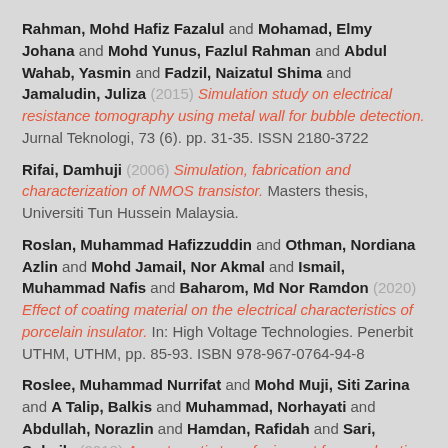Rahman, Mohd Hafiz Fazalul and Mohamad, Elmy Johana and Mohd Yunus, Fazlul Rahman and Abdul Wahab, Yasmin and Fadzil, Naizatul Shima and Jamaludin, Juliza (2015) Simulation study on electrical resistance tomography using metal wall for bubble detection. Jurnal Teknologi, 73 (6). pp. 31-35. ISSN 2180-3722
Rifai, Damhuji (2006) Simulation, fabrication and characterization of NMOS transistor. Masters thesis, Universiti Tun Hussein Malaysia.
Roslan, Muhammad Hafizzuddin and Othman, Nordiana Azlin and Mohd Jamail, Nor Akmal and Ismail, Muhammad Nafis and Baharom, Md Nor Ramdon (2020) Effect of coating material on the electrical characteristics of porcelain insulator. In: High Voltage Technologies. Penerbit UTHM, UTHM, pp. 85-93. ISBN 978-967-0764-94-8
Roslee, Muhammad Nurrifat and Mohd Muji, Siti Zarina and A Talip, Balkis and Muhammad, Norhayati and Abdullah, Norazlin and Hamdan, Rafidah and Sari, Suhaila (2018) An automatic transfusion set for accelerating inoculation process of agarwood artificial inducer. International Journal